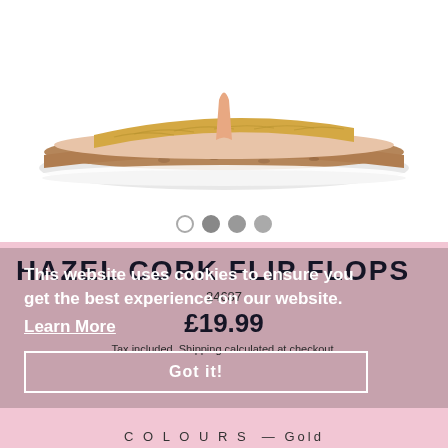[Figure (photo): Gold cork flip flop sandal with peach/tan footbed and white scalloped sole, shown on white background from top-down angle]
HAZEL CORK FLIP FLOPS
24687
£19.99
Tax included. Shipping calculated at checkout.
This website uses cookies to ensure you get the best experience on our website.
Learn More
Got it!
C O L O U R S  — Gold